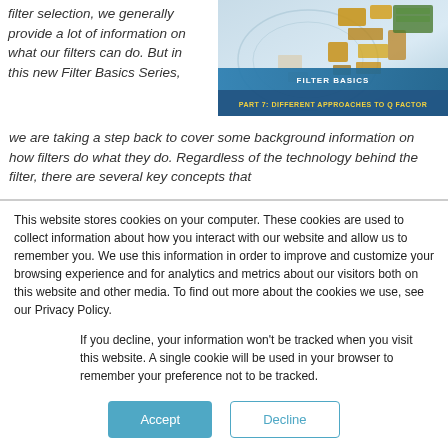filter selection, we generally provide a lot of information on what our filters can do. But in this new Filter Basics Series, we are taking a step back to cover some background information on how filters do what they do. Regardless of the technology behind the filter, there are several key concepts that
[Figure (photo): Filter Basics Part 7: Different Approaches to Q Factor - product image showing various electronic filter components in gold/metallic colors against a blue background, with a banner reading FILTER BASICS / PART 7: DIFFERENT APPROACHES TO Q FACTOR]
This website stores cookies on your computer. These cookies are used to collect information about how you interact with our website and allow us to remember you. We use this information in order to improve and customize your browsing experience and for analytics and metrics about our visitors both on this website and other media. To find out more about the cookies we use, see our Privacy Policy.
If you decline, your information won’t be tracked when you visit this website. A single cookie will be used in your browser to remember your preference not to be tracked.